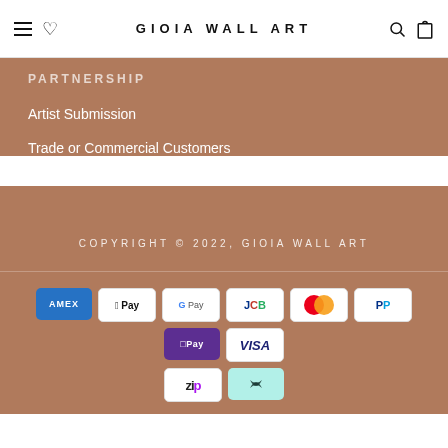GIOIA WALL ART
PARTNERSHIP
Artist Submission
Trade or Commercial Customers
COPYRIGHT © 2022, GIOIA WALL ART
[Figure (other): Payment method icons: AMEX, Apple Pay, Google Pay, JCB, Mastercard, PayPal, ShopPay, Visa, Zip, Afterpay]